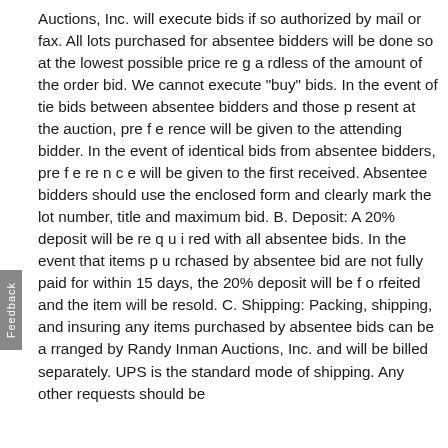Auctions, Inc. will execute bids if so authorized by mail or fax. All lots purchased for absentee bidders will be done so at the lowest possible price re g a rdless of the amount of the order bid. We cannot execute "buy" bids. In the event of tie bids between absentee bidders and those p resent at the auction, pre f e rence will be given to the attending bidder. In the event of identical bids from absentee bidders, pre f e re n c e will be given to the first received. Absentee bidders should use the enclosed form and clearly mark the lot number, title and maximum bid. B. Deposit: A 20% deposit will be re q u i red with all absentee bids. In the event that items p u rchased by absentee bid are not fully paid for within 15 days, the 20% deposit will be f o rfeited and the item will be resold. C. Shipping: Packing, shipping, and insuring any items purchased by absentee bids can be a rranged by Randy Inman Auctions, Inc. and will be billed separately. UPS is the standard mode of shipping. Any other requests should be